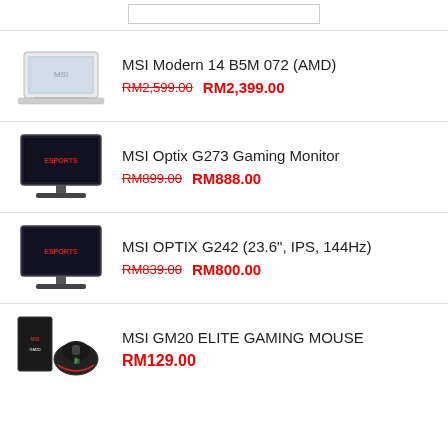MSI Modern 14 B5M 072 (AMD)
RM2,599.00  RM2,399.00
[Figure (photo): MSI Modern 14 B5M 072 laptop product image]
MSI Optix G273 Gaming Monitor
RM899.00  RM888.00
[Figure (photo): MSI Optix G273 Gaming Monitor product image]
MSI OPTIX G242 (23.6", IPS, 144Hz)
RM839.00  RM800.00
[Figure (photo): MSI OPTIX G242 gaming monitor product image]
MSI GM20 ELITE GAMING MOUSE
RM129.00
[Figure (photo): MSI GM20 Elite Gaming Mouse product image]